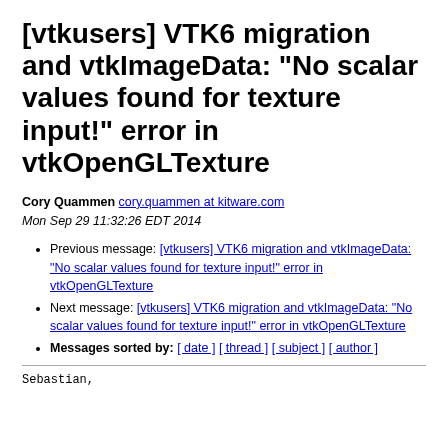[vtkusers] VTK6 migration and vtkImageData: "No scalar values found for texture input!" error in vtkOpenGLTexture
Cory Quammen cory.quammen at kitware.com
Mon Sep 29 11:32:26 EDT 2014
Previous message: [vtkusers] VTK6 migration and vtkImageData: "No scalar values found for texture input!" error in vtkOpenGLTexture
Next message: [vtkusers] VTK6 migration and vtkImageData: "No scalar values found for texture input!" error in vtkOpenGLTexture
Messages sorted by: [ date ] [ thread ] [ subject ] [ author ]
Sebastian,